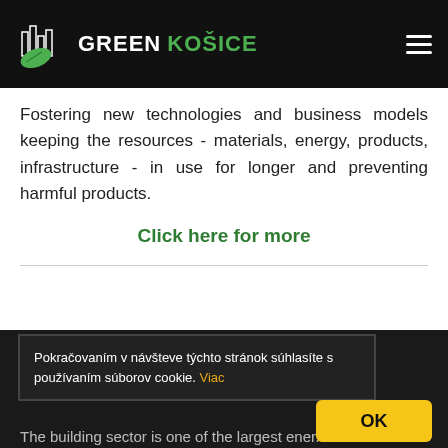GREEN KOŠICE
Fostering new technologies and business models keeping the resources - materials, energy, products, infrastructure - in use for longer and preventing harmful products.
Click here for more
Pokračovaním v návšteve týchto stránok súhlasíte s používaním súborov cookie. Viac
The building sector is one of the largest ener...